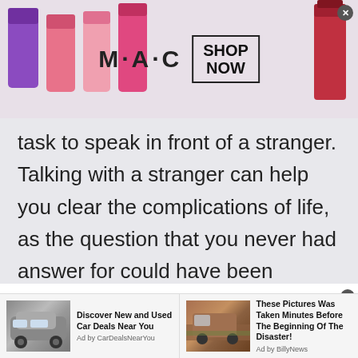[Figure (photo): MAC cosmetics advertisement banner showing colorful lipsticks on left, MAC logo and SHOP NOW button in center, red lipstick on right]
task to speak in front of a stranger. Talking with a stranger can help you clear the complications of life, as the question that you never had answer for could have been answered by someone else already.
Yemeni Talk to Strangers Online
[Figure (photo): Bottom advertisement bar with two ads: 'Discover New and Used Car Deals Near You' (Ad by CarDealsNearYou) with car image, and 'These Pictures Was Taken Minutes Before The Beginning Of The Disaster!' (Ad by BillyNews) with truck/flood image]